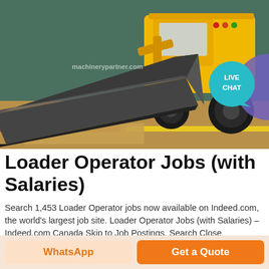[Figure (photo): A yellow skid steer loader / mini wheel loader with a large dark grey front bucket, photographed in an industrial warehouse setting. A 'LIVE CHAT' teal speech bubble badge is overlaid on the top-right of the image, with a purple blob shape behind it.]
Loader Operator Jobs (with Salaries)
Search 1,453 Loader Operator jobs now available on Indeed.com, the world's largest job site. Loader Operator Jobs (with Salaries) - Indeed.com Canada Skip to Job Postings, Search Close
WhatsApp
Get a Quote